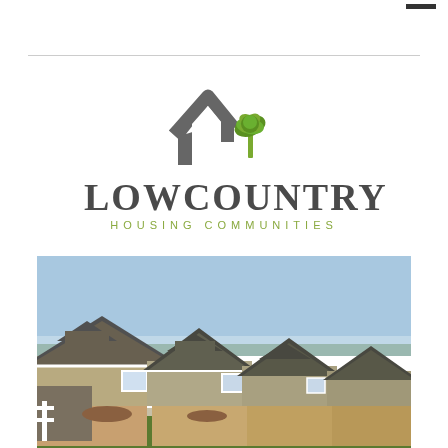[Figure (logo): Lowcountry Housing Communities logo with stylized house outline in gray and a green palm tree inside, above the text LOWCOUNTRY in dark gray serif letters and HOUSING COMMUNITIES in green spaced sans-serif letters]
[Figure (photo): Aerial/elevated photograph of a row of craftsman-style residential homes with beige and brick facades, gray and dark roofs, white trim, and green lawn in the foreground under a clear blue sky]